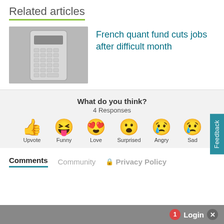Related articles
[Figure (photo): Grayscale photo of a scientific calculator on a white background]
French quant fund cuts jobs after difficult month
What do you think?
4 Responses
[Figure (infographic): Reaction emojis: Upvote (thumbs up), Funny (laughing face with tongue), Love (heart eyes), Surprised (wow face), Angry (crying face), Sad (sad face with tear)]
Comments  Community  🔒 Privacy Policy
Feedback
1  Login  ×